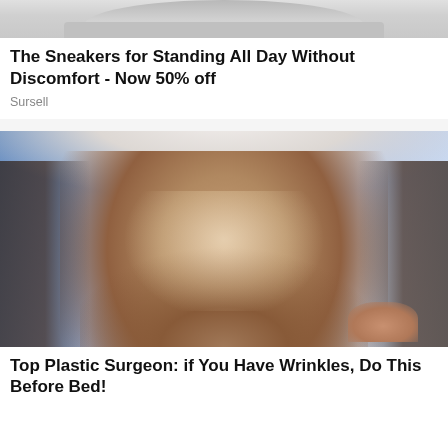[Figure (photo): Top portion of a sneaker product photo, showing the sole/bottom of a white sneaker against a light gray background]
The Sneakers for Standing All Day Without Discomfort - Now 50% off
Sursell
[Figure (photo): A woman with a white towel on her head receiving a facial treatment or skincare procedure, with a glossy/shiny substance on her face, eyes closed, with a blue background]
Top Plastic Surgeon: if You Have Wrinkles, Do This Before Bed!